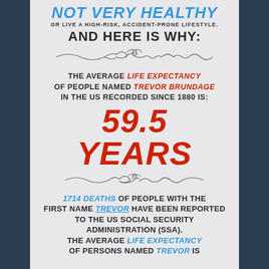NOT VERY HEALTHY
OR LIVE A HIGH-RISK, ACCIDENT-PRONE LIFESTYLE.
AND HERE IS WHY:
THE AVERAGE LIFE EXPECTANCY OF PEOPLE NAMED TREVOR BRUNDAGE IN THE US RECORDED SINCE 1880 IS:
59.5 YEARS
1714 DEATHS OF PEOPLE WITH THE FIRST NAME TREVOR HAVE BEEN REPORTED TO THE US SOCIAL SECURITY ADMINISTRATION (SSA). THE AVERAGE LIFE EXPECTANCY OF PERSONS NAMED TREVOR IS